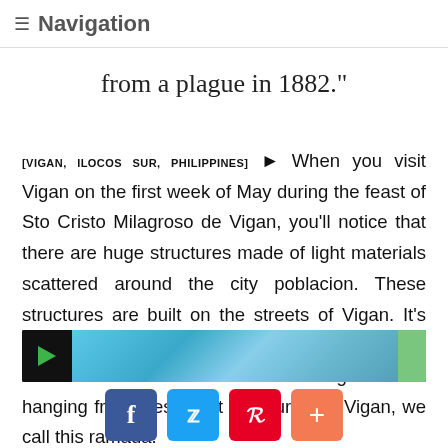≡ Navigation
from a plague in 1882."
[VIGAN, ILOCOS SUR, PHILIPPINES] ► When you visit Vigan on the first week of May during the feast of Sto Cristo Milagroso de Vigan, you'll notice that there are huge structures made of light materials scattered around the city poblacion. These structures are built on the streets of Vigan. It's like a welcome arch made of bamboos, palms and/or coconut leaves. Fruits and goods are hanging from these light structures. In Vigan, we call this ramada.
[Figure (screenshot): Video thumbnail strip with play button on dark background showing a scene with bamboo/plant structures, with a green overlay on the right side.]
[Figure (other): Social sharing buttons: Facebook (blue), Twitter (light blue), Pinterest (red), and a plus/share button (orange-red).]